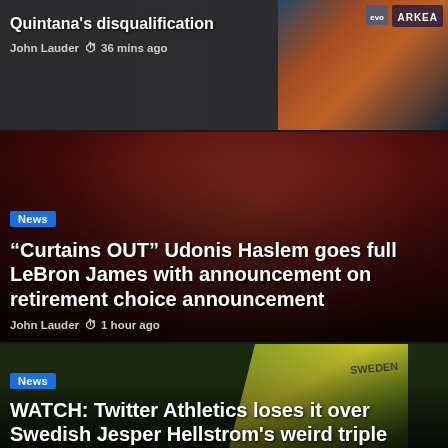[Figure (photo): Sports news card showing cyclist event with ARKEA branding on right side]
Quintana's disqualification
John Lauder  36 mins ago
[Figure (photo): Basketball player Udonis Haslem speaking into microphone against red arena background]
“Curtains OUT” Udonis Haslem goes full LeBron James with announcement on retirement choice announcement
John Lauder  1 hour ago
[Figure (photo): Swedish athlete Jesper Hellstrom in yellow SWEDEN jersey performing triple jump at European Athletics]
WATCH: Twitter Athletics loses it over Swedish Jesper Hellstrom's weird triple